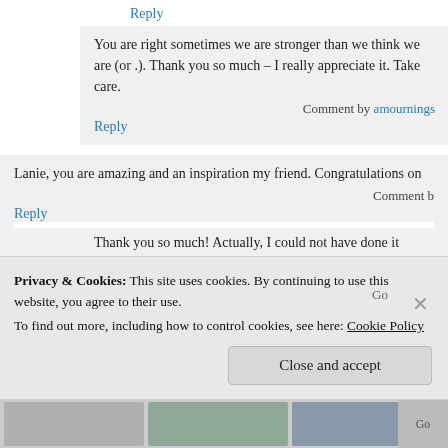Reply
You are right sometimes we are stronger than we think we are (or.). Thank you so much – I really appreciate it. Take care.
Comment by amourning...
Reply
Lanie, you are amazing and an inspiration my friend. Congratulations on...
Comment b...
Reply
Thank you so much! Actually, I could not have done it without yo...
Comment by amourning...
Reply
Privacy & Cookies: This site uses cookies. By continuing to use this website, you agree to their use. To find out more, including how to control cookies, see here: Cookie Policy
Close and accept